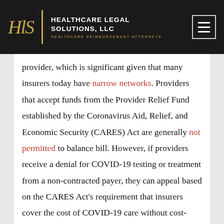Healthcare Legal Solutions, LLC — Healthcare Reimbursement Attorneys
provider, which is significant given that many insurers today have narrow networks. Providers that accept funds from the Provider Relief Fund established by the Coronavirus Aid, Relief, and Economic Security (CARES) Act are generally not permitted to balance bill. However, if providers receive a denial for COVID-19 testing or treatment from a non-contracted payer, they can appeal based on the CARES Act's requirement that insurers cover the cost of COVID-19 care without cost-